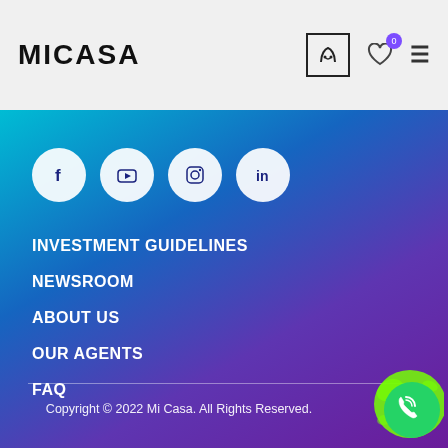MICASA
[Figure (logo): MICASA logo in bold black text on light gray header background]
INVESTMENT GUIDELINES
NEWSROOM
ABOUT US
OUR AGENTS
FAQ
Copyright © 2022 Mi Casa. All Rights Reserved.